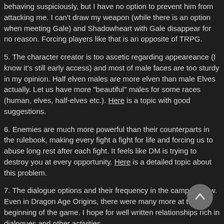behaving suspiciously, but I have no option to prevent him from attacking me. I can't draw my weapon (while there is an option when meeting Gale) and Shadowheart with Gale disappear for no reason. Forcing players like that is an opposite of TRPG.
5. The character creator is too ascetic regarding appeareance (I know it's still early access) and most of male faces are too sturdy in my opinion. Half elven males are more elven than male Elves actually. Let us have more "beautiful" males for some races (human, elves, half-elves etc.). Here is a topic with good suggestions.
6. Enemies are much more powerful than their counterparts in the rulebook, making every fight a fight for life and forcing us to abuse long rest after each fight. It feels like DM is trying to destroy you at every opportunity. Here is a detailed topic about this problem.
7. The dialogue options and their frequency in the camp are low. Even in Dragon Age Origins, there were many more at the beginning of the game. I hope for well written relationships rich in dialogues and other activities.
8. Lack of background for our original characters. Dialogue options regarding our character's past would be a huge step forward. Here is an interesting topic about that matter.
9. Banters between companions are too short. It was well done in Dragon Age: Inquisition, where characters exchanged several sentences in interesting and funny way.